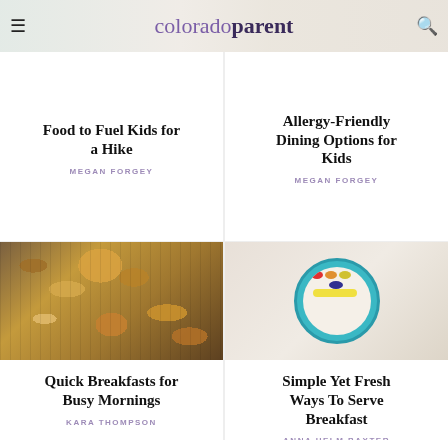colorado parent
Food to Fuel Kids for a Hike
MEGAN FORGEY
Allergy-Friendly Dining Options for Kids
MEGAN FORGEY
[Figure (photo): Granola bars wrapped in paper and tied with pink ribbon, arranged on a wire cooling rack]
Quick Breakfasts for Busy Mornings
KARA THOMPSON
[Figure (photo): Colorful fruit and granola breakfast bowl with strawberries, oranges, blueberries and banana slices in a teal bowl]
Simple Yet Fresh Ways To Serve Breakfast
ANNA HELM BAXTER